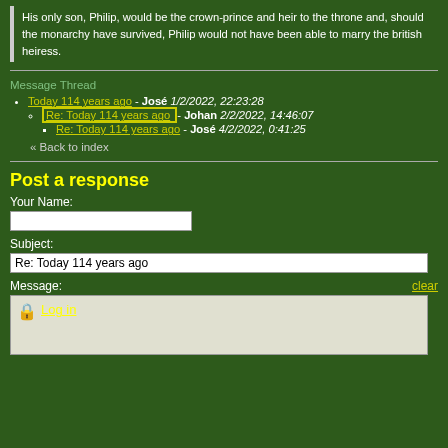His only son, Philip, would be the crown-prince and heir to the throne and, should the monarchy have survived, Philip would not have been able to marry the british heiress.
Message Thread
Today 114 years ago - José 1/2/2022, 22:23:28
Re: Today 114 years ago - Johan 2/2/2022, 14:46:07
Re: Today 114 years ago - José 4/2/2022, 0:41:25
« Back to index
Post a response
Your Name:
Subject: Re: Today 114 years ago
Message: clear
Log in